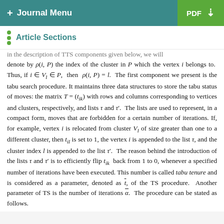+ Journal Menu | PDF ↓
Article Sections
in the description of TTS components given below, we will denote by ρ(i, P) the index of the cluster in P which the vertex i belongs to. Thus, if i ∈ V_l ∈ P, then ρ(i, P) = l. The first component we present is the tabu search procedure. It maintains three data structures to store the tabu status of moves: the matrix T = (t_ik) with rows and columns corresponding to vertices and clusters, respectively, and lists τ and τ′. The lists are used to represent, in a compact form, moves that are forbidden for a certain number of iterations. If, for example, vertex i is relocated from cluster V_l of size greater than one to a different cluster, then t_il is set to 1, the vertex i is appended to the list τ, and the cluster index l is appended to the list τ′. The reason behind the introduction of the lists τ and τ′ is to efficiently flip t_ik back from 1 to 0, whenever a specified number of iterations have been executed. This number is called tabu tenure and is considered as a parameter, denoted as t̄, of the TS procedure. Another parameter of TS is the number of iterations ᾱ. The procedure can be stated as follows.